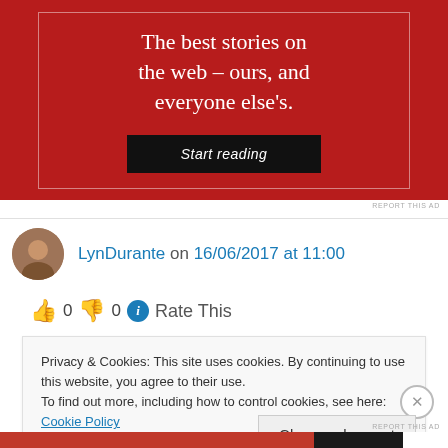[Figure (other): Red advertisement banner with white serif text 'The best stories on the web – ours, and everyone else's.' and a dark 'Start reading' button with inner white border]
REPORT THIS AD
LynDurante on 16/06/2017 at 11:00
👍 0 👎 0 ℹ Rate This
Privacy & Cookies: This site uses cookies. By continuing to use this website, you agree to their use.
To find out more, including how to control cookies, see here: Cookie Policy
Close and accept